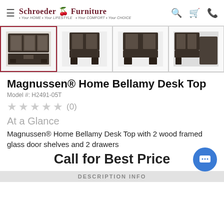Schroeder Furniture · Your HOME · Your LIFESTYLE · Your COMFORT · Your CHOICE
[Figure (photo): Thumbnail images of Magnussen Home Bellamy Desk Top furniture piece — 4 product photos showing the hutch/desk unit from various angles]
Magnussen® Home Bellamy Desk Top
Model #: H2491-05T
★★★★★ (0)
At a Glance
Magnussen® Home Bellamy Desk Top with 2 wood framed glass door shelves and 2 drawers
Call for Best Price
DESCRIPTION INFO